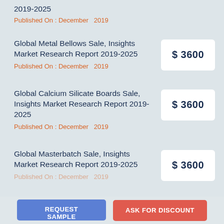2019-2025
Published On : December  2019
Global Metal Bellows Sale, Insights Market Research Report 2019-2025
Published On : December  2019
$ 3600
Global Calcium Silicate Boards Sale, Insights Market Research Report 2019-2025
Published On : December  2019
$ 3600
Global Masterbatch Sale, Insights Market Research Report 2019-2025
$ 3600